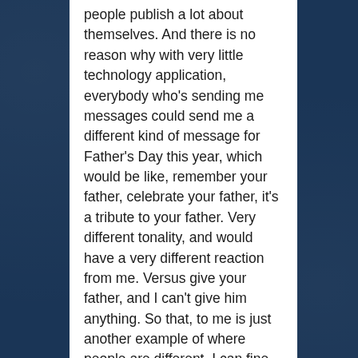people publish a lot about themselves. And there is no reason why with very little technology application, everybody who's sending me messages could send me a different kind of message for Father's Day this year, which would be like, remember your father, celebrate your father, it's a tribute to your father. Very different tonality, and would have a very different reaction from me. Versus give your father, and I can't give him anything. So that, to me is just another example of where people are different. I can fine slice any human